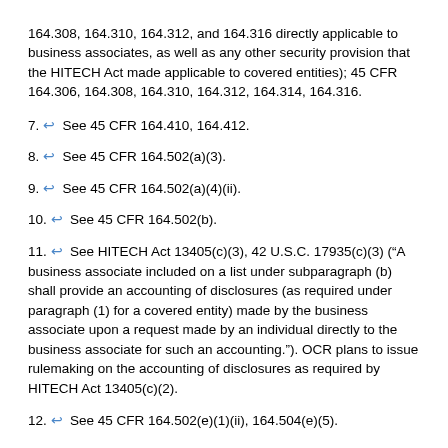164.308, 164.310, 164.312, and 164.316 directly applicable to business associates, as well as any other security provision that the HITECH Act made applicable to covered entities); 45 CFR 164.306, 164.308, 164.310, 164.312, 164.314, 164.316.
7. ↩ See 45 CFR 164.410, 164.412.
8. ↩ See 45 CFR 164.502(a)(3).
9. ↩ See 45 CFR 164.502(a)(4)(ii).
10. ↩ See 45 CFR 164.502(b).
11. ↩ See HITECH Act 13405(c)(3), 42 U.S.C. 17935(c)(3) ("A business associate included on a list under subparagraph (b) shall provide an accounting of disclosures (as required under paragraph (1) for a covered entity) made by the business associate upon a request made by an individual directly to the business associate for such an accounting."). OCR plans to issue rulemaking on the accounting of disclosures as required by HITECH Act 13405(c)(2).
12. ↩ See 45 CFR 164.502(e)(1)(ii), 164.504(e)(5).